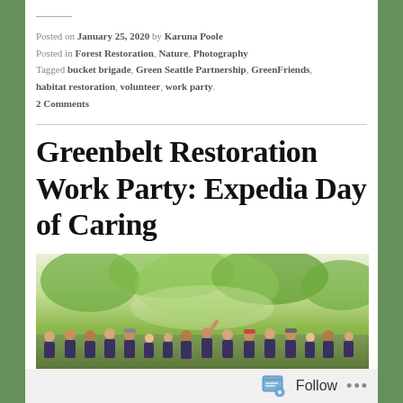Posted on January 25, 2020 by Karuna Poole
Posted in Forest Restoration, Nature, Photography
Tagged bucket brigade, Green Seattle Partnership, GreenFriends, habitat restoration, volunteer, work party.
2 Comments
Greenbelt Restoration Work Party: Expedia Day of Caring
[Figure (photo): Group photo of volunteers in dark t-shirts standing outdoors in a forested greenbelt area, one person raising their hand.]
Follow ...